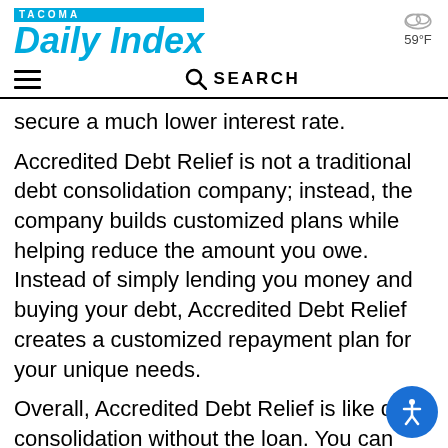TACOMA Daily Index | 59°F
secure a much lower interest rate.
Accredited Debt Relief is not a traditional debt consolidation company; instead, the company builds customized plans while helping reduce the amount you owe. Instead of simply lending you money and buying your debt, Accredited Debt Relief creates a customized repayment plan for your unique needs.
Overall, Accredited Debt Relief is like debt consolidation without the loan. You can use the program to finally overcome overwhelming de